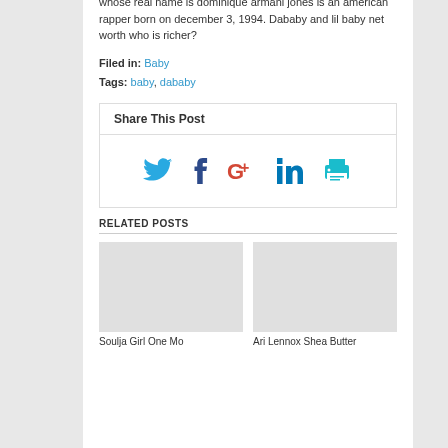whose real name is dominique armani jones is an american rapper born on december 3, 1994. Dababy and lil baby net worth who is richer?
Filed in: Baby
Tags: baby, dababy
[Figure (infographic): Share This Post box with social media icons: Twitter (blue bird), Facebook (dark blue f), Google+ (red G+), LinkedIn (blue in), and a print icon (cyan printer)]
RELATED POSTS
Soulja Girl One Mo
Ari Lennox Shea Butter